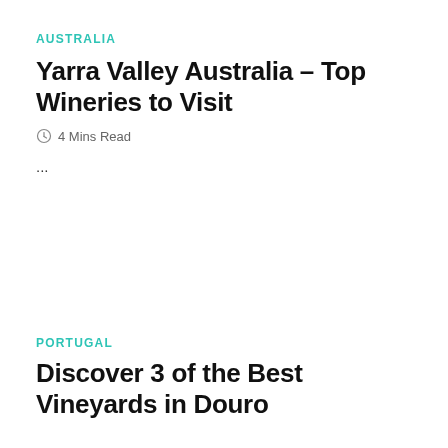AUSTRALIA
Yarra Valley Australia – Top Wineries to Visit
4 Mins Read
...
PORTUGAL
Discover 3 of the Best Vineyards in Douro